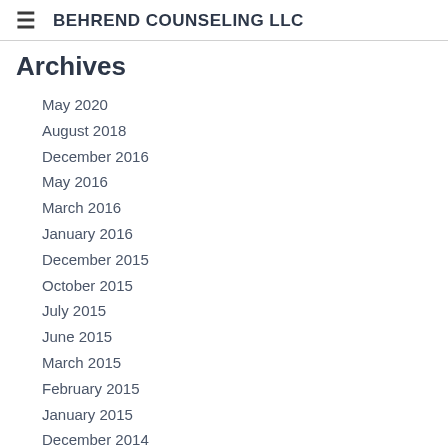BEHREND COUNSELING LLC
Archives
May 2020
August 2018
December 2016
May 2016
March 2016
January 2016
December 2015
October 2015
July 2015
June 2015
March 2015
February 2015
January 2015
December 2014
November 2014
October 2014
August 2014